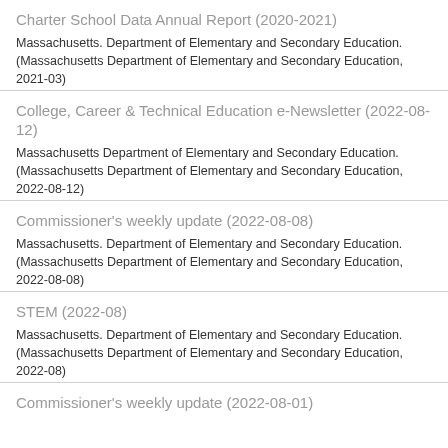Charter School Data Annual Report (2020-2021)
Massachusetts. Department of Elementary and Secondary Education. (Massachusetts Department of Elementary and Secondary Education, 2021-03)
College, Career & Technical Education e-Newsletter (2022-08-12)
Massachusetts Department of Elementary and Secondary Education. (Massachusetts Department of Elementary and Secondary Education, 2022-08-12)
Commissioner's weekly update (2022-08-08)
Massachusetts. Department of Elementary and Secondary Education. (Massachusetts Department of Elementary and Secondary Education, 2022-08-08)
STEM (2022-08)
Massachusetts. Department of Elementary and Secondary Education. (Massachusetts Department of Elementary and Secondary Education, 2022-08)
Commissioner's weekly update (2022-08-01)